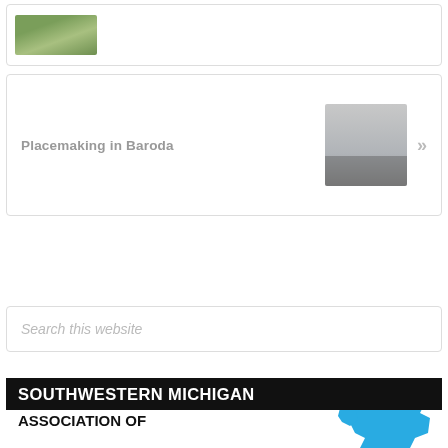[Figure (photo): Small landscape/garden photo in a card]
Placemaking in Baroda
[Figure (photo): Group of people holding a large check outdoors]
Search this website
[Figure (logo): Southwestern Michigan Association of logo with blue Michigan state shape and black bar with white text]